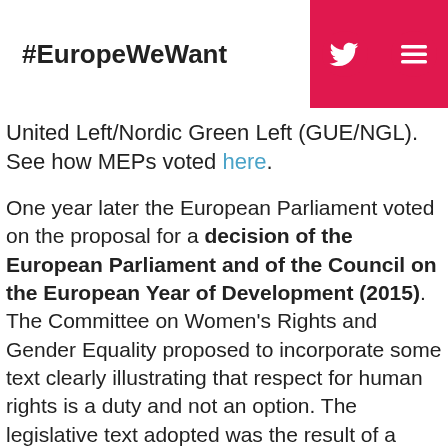#EuropeWeWant
United Left/Nordic Green Left (GUE/NGL). See how MEPs voted here.
One year later the European Parliament voted on the proposal for a decision of the European Parliament and of the Council on the European Year of Development (2015). The Committee on Women's Rights and Gender Equality proposed to incorporate some text clearly illustrating that respect for human rights is a duty and not an option. The legislative text adopted was the result of a great deal of hard work on raising awareness; nevertheless there were 8% against and a 6% abstention. The ECR Group was the first against,